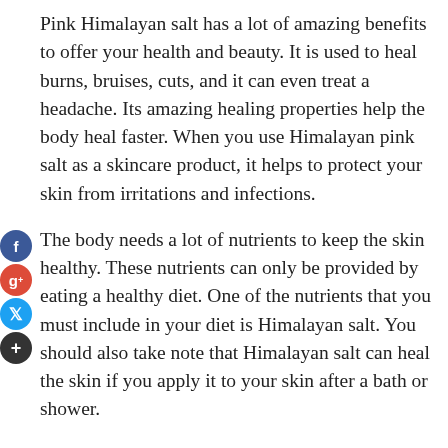Pink Himalayan salt has a lot of amazing benefits to offer your health and beauty. It is used to heal burns, bruises, cuts, and it can even treat a headache. Its amazing healing properties help the body heal faster. When you use Himalayan pink salt as a skincare product, it helps to protect your skin from irritations and infections.
The body needs a lot of nutrients to keep the skin healthy. These nutrients can only be provided by eating a healthy diet. One of the nutrients that you must include in your diet is Himalayan salt. You should also take note that Himalayan salt can heal the skin if you apply it to your skin after a bath or shower.
Himalayan salt also helps to improve your complexion. When you use it for your skin, it helps to make it softer and younger-looking. When you apply it on